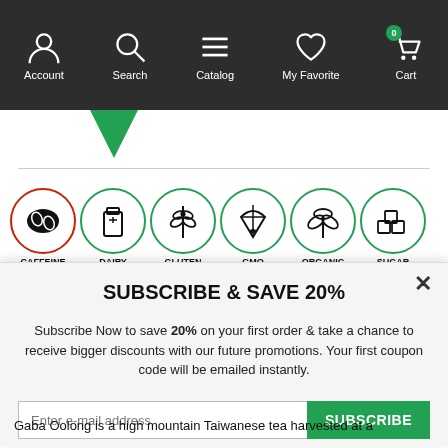Account | Search | Catalog | My Favorite | Cart (0)
[Figure (infographic): Category filter icons: CAFFEINE (red border, coffee beans), DAIRY (milk bottle), GLUTEN (wheat), GMO (flask), ORGANIC (leaves), SUGAR (sugar cubes) — all in green outlined circles except CAFFEINE in red]
SUBSCRIBE & SAVE 20%
Subscribe Now to save 20% on your first order & take a chance to receive bigger discounts with our future promotions. Your first coupon code will be emailed instantly.
Enter e-mail address | SUBSCRIBE
Gaba Oolong is a high mountain Taiwanese tea harvested at a